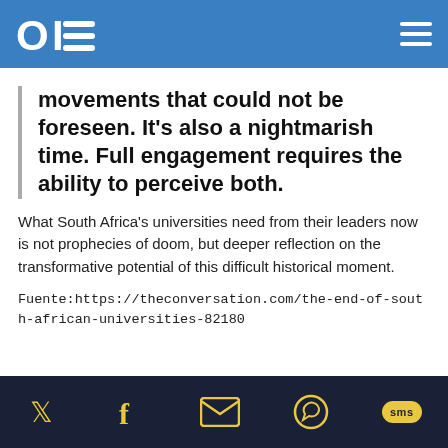OIE (logo) — navigation header
movements that could not be foreseen. It's also a nightmarish time. Full engagement requires the ability to perceive both.
What South Africa's universities need from their leaders now is not prophecies of doom, but deeper reflection on the transformative potential of this difficult historical moment.
Fuente:https://theconversation.com/the-end-of-south-african-universities-82180
Social share icons: Twitter, Facebook, Email, WhatsApp, SMS